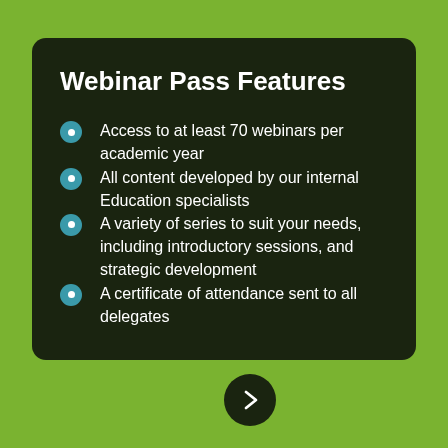Webinar Pass Features
Access to at least 70 webinars per academic year
All content developed by our internal Education specialists
A variety of series to suit your needs, including introductory sessions, and strategic development
A certificate of attendance sent to all delegates